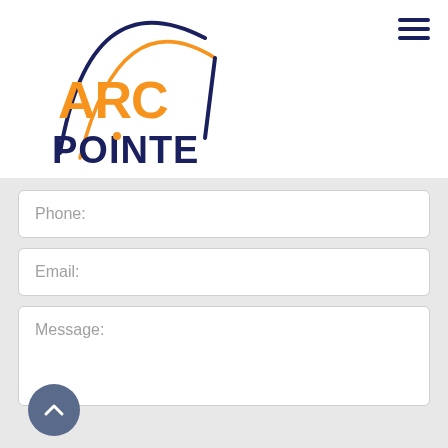[Figure (logo): ARC Pointe logo with orange ARC text and dark navy POINTE text, with an orange/navy arc swoosh graphic above]
[Figure (other): Hamburger menu icon (three horizontal dark navy lines) in the top right corner]
Phone:
Email:
Message: